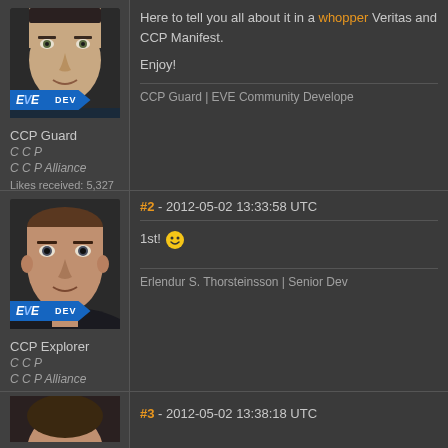[Figure (photo): CCP Guard avatar portrait with EVE DEV badge]
CCP Guard
C C P
C C P Alliance
Likes received: 5,327
Here to tell you all about it in a whopper Veritas and CCP Manifest.
Enjoy!
CCP Guard | EVE Community Developer
[Figure (photo): CCP Explorer avatar portrait with EVE DEV badge]
CCP Explorer
C C P
C C P Alliance
Likes received: 3,194
#2 - 2012-05-02 13:33:58 UTC
1st! 😀
Erlendur S. Thorsteinsson | Senior Dev
#3 - 2012-05-02 13:38:18 UTC